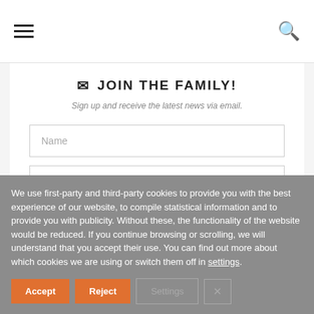Navigation menu and search icons
JOIN THE FAMILY!
Sign up and receive the latest news via email.
Name
Email address
We use first-party and third-party cookies to provide you with the best experience of our website, to compile statistical information and to provide you with publicity. Without these, the functionality of the website would be reduced. If you continue browsing or scrolling, we will understand that you accept their use. You can find out more about which cookies we are using or switch them off in settings.
Accept
Reject
Settings
×